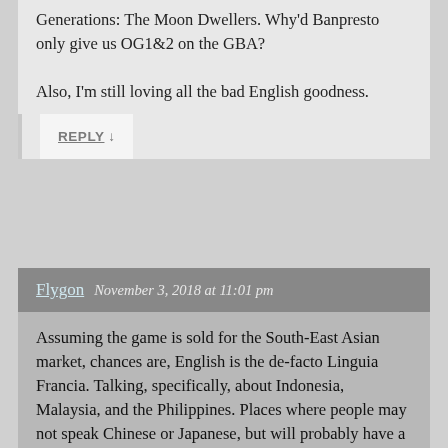Generations: The Moon Dwellers. Why'd Banpresto only give us OG1&2 on the GBA?
Also, I'm still loving all the bad English goodness.
REPLY ↓
Flygon   November 3, 2018 at 11:01 pm
Assuming the game is sold for the South-East Asian market, chances are, English is the de-facto Linguia Francia. Talking, specifically, about Indonesia, Malaysia, and the Philippines. Places where people may not speak Chinese or Japanese, but will probably have a good grasp of English for the purposes of reading comprehension.
Take me with a grain of salt, but this is what I believe to be the case. And the reason for a